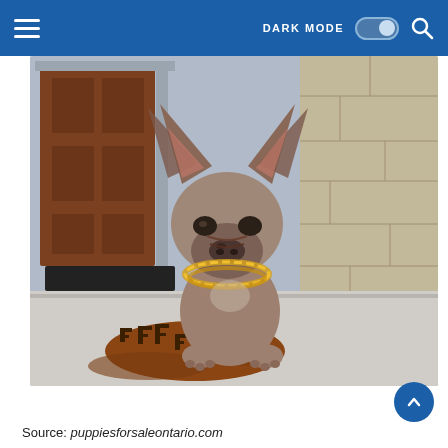DARK MODE  [toggle]  [search icon]
[Figure (photo): A French Bulldog puppy wearing a chunky gold chain necklace, standing on a light concrete step beside a stone wall. In front of the puppy lies a brown and black Fendi-patterned knit blanket. In the background is a wooden door and a black door mat.]
Source: puppiesforsaleontario.com